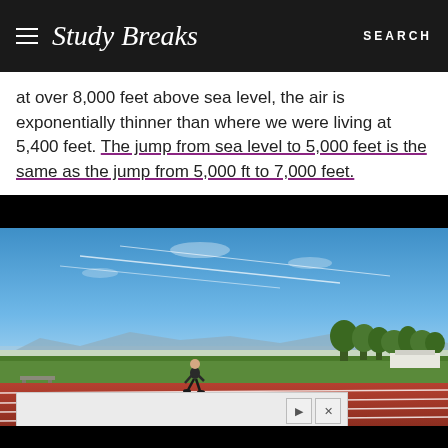Study Breaks — SEARCH
at over 8,000 feet above sea level, the air is exponentially thinner than where we were living at 5,400 feet. The jump from sea level to 5,000 feet is the same as the jump from 5,000 ft to 7,000 feet.
[Figure (photo): A runner on a red track with green field, trees, and mountains under a blue sky with contrails.]